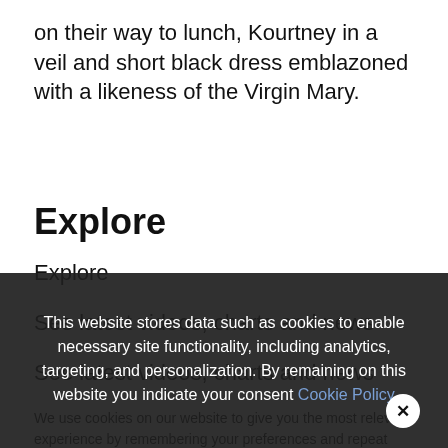on their way to lunch, Kourtney in a veil and short black dress emblazoned with a likeness of the Virgin Mary.
Explore
Explore
See latest videos, charts and news
See latest videos, charts and news
We use cookies on our website to give you the most relevant experience by remembering your preferences and repeat visits. By clicking “Accept All”, you consent to the use of ALL the cookies. However, you may visit “Cookie Settings” to provide a controlled consent.
This website stores data such as cookies to enable necessary site functionality, including analytics, targeting, and personalization. By remaining on this website you indicate your consent Cookie Policy